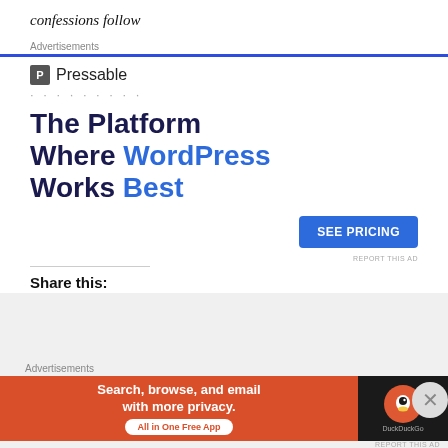confessions follow
[Figure (screenshot): Pressable advertisement banner: The Platform Where WordPress Works Best, with SEE PRICING button]
Share this:
[Figure (screenshot): DuckDuckGo advertisement banner: Search, browse, and email with more privacy. All in One Free App]